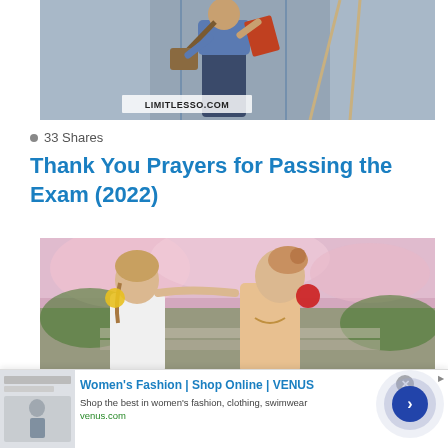[Figure (photo): Person in denim shirt carrying books and bag, exiting a building. Watermark reads LIMITLESSO.COM at the bottom.]
33 Shares
Thank You Prayers for Passing the Exam (2022)
[Figure (photo): Two young women outdoors with cherry blossoms in background, one whispering to the other, both wearing colorful earrings.]
[Figure (other): Advertisement banner for Women's Fashion | Shop Online | VENUS. Text: Shop the best in women's fashion, clothing, swimwear. venus.com]